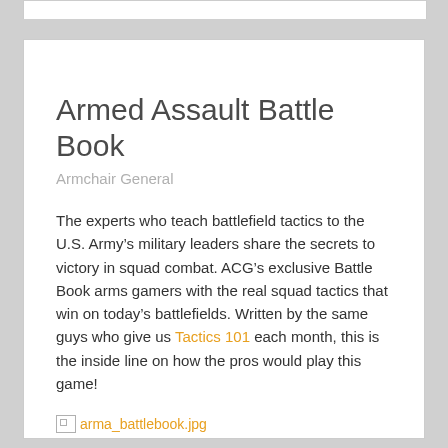Armed Assault Battle Book
Armchair General
The experts who teach battlefield tactics to the U.S. Army’s military leaders share the secrets to victory in squad combat. ACG’s exclusive Battle Book arms gamers with the real squad tactics that win on today’s battlefields. Written by the same guys who give us Tactics 101 each month, this is the inside line on how the pros would play this game!
[Figure (photo): Broken image placeholder labeled arma_battlebook.jpg]